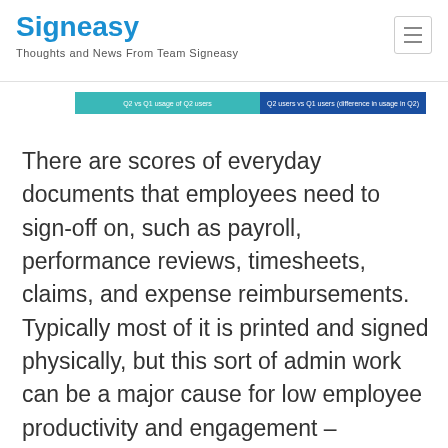Signeasy
Thoughts and News From Team Signeasy
[Figure (other): Legend bar with two colored segments: 'Q2 vs Q1 usage of Q2 users' (teal) and 'Q2 users vs Q1 users (difference in usage in Q2)' (dark blue)]
There are scores of everyday documents that employees need to sign-off on, such as payroll, performance reviews, timesheets, claims, and expense reimbursements. Typically most of it is printed and signed physically, but this sort of admin work can be a major cause for low employee productivity and engagement – especially when working remotely. This explains the 1,020% jump in usage of Signeasy for employee services by new users in Q2 vs new users in Q1. By identifying the pain points and re-